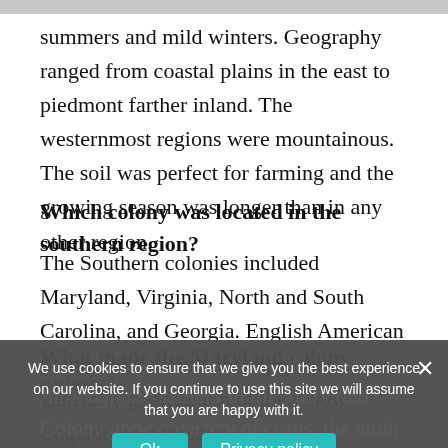summers and mild winters. Geography ranged from coastal plains in the east to piedmont farther inland. The westernmost regions were mountainous. The soil was perfect for farming and the growing season was longer than in any other region.
Which colony was located in the southern region?
The Southern colonies included Maryland, Virginia, North and South Carolina, and Georgia. English American Southerners would not enjoy the generally good health of their New England counterparts.
What made the Maryland colony unique?
Although the settlers in the Maryland Colony grew a variety of crops, the main export was tobacco. The climate in the Maryland Colony was much warmer than in
We use cookies to ensure that we give you the best experience on our website. If you continue to use this site we will assume that you are happy with it.